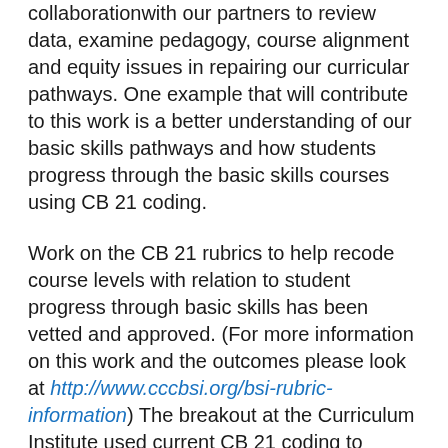collaborationwith our partners to review data, examine pedagogy, course alignment and equity issues in repairing our curricular pathways. One example that will contribute to this work is a better understanding of our basic skills pathways and how students progress through the basic skills courses using CB 21 coding.
Work on the CB 21 rubrics to help recode course levels with relation to student progress through basic skills has been vetted and approved. (For more information on this work and the outcomes please look at http://www.cccbsi.org/bsi-rubric-information) The breakout at the Curriculum Institute used current CB 21 coding to examine the coding anomalies that exist and will be improved through the CB 21 recoding project. Every college requesting a look at their data has been surprised with the inaccuracies and the ultimate resulting data when reporting curricular success based on the current coding. More about the coding issues and timeline are covered in